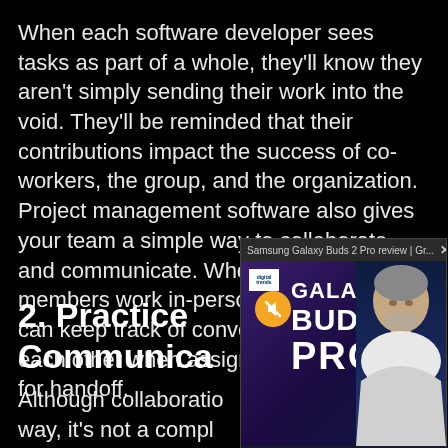When each software developer sees tasks as part of a whole, they'll know they aren't simply sending their work into the void. They'll be reminded that their contributions impact the success of co-workers, the group, and the organization. Project management software also gives your team a simple way to collaborate and communicate. Whether team members work in-person or remotely, they can keep track of conversations and alert each other when assignments are ready for handoff.
[Figure (screenshot): Video popup overlay for 'Samsung Galaxy Buds 2 Pro review | Gr...' showing a man holding a product with Galaxy Buds 2 Pro text on a purple/dark background, with a mute button and Digital Trends logo visible.]
2. Practice Transparent Communication
Although collaboration and communication with